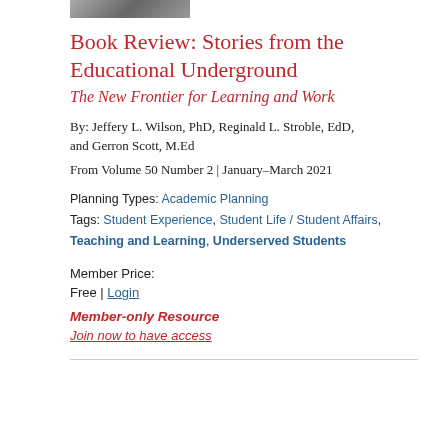[Figure (photo): Partial cropped photo at top of page]
Book Review: Stories from the Educational Underground
The New Frontier for Learning and Work
By: Jeffery L. Wilson, PhD, Reginald L. Stroble, EdD, and Gerron Scott, M.Ed
From Volume 50 Number 2 | January–March 2021
Planning Types: Academic Planning
Tags: Student Experience, Student Life / Student Affairs, Teaching and Learning, Underserved Students
Member Price:
Free | Login
Member-only Resource
Join now to have access